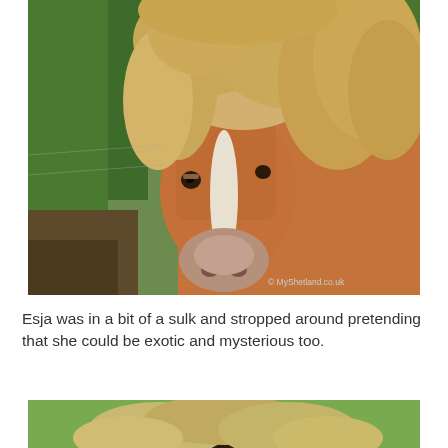[Figure (photo): Close-up portrait of a chestnut Shetland pony with a large flaxen mane, white blaze on face, looking forward. Green foliage in background. Watermark '© MyShetland.co.uk' in lower right corner.]
Esja was in a bit of a sulk and stropped around pretending that she could be exotic and mysterious too.
[Figure (photo): Partial view of another pony, showing top of head with light-colored mane against a green background.]